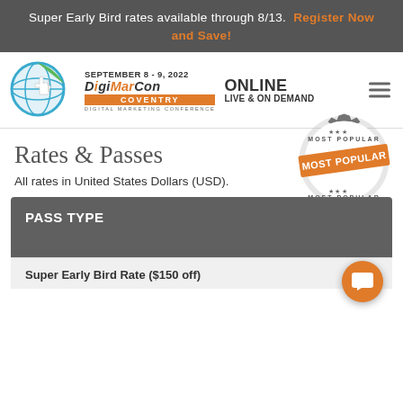Super Early Bird rates available through 8/13. Register Now and Save!
[Figure (logo): DigiMarCon Coventry Digital Marketing Conference logo with globe and hand icon]
SEPTEMBER 8 - 9, 2022
ONLINE LIVE & ON DEMAND
Rates & Passes
[Figure (illustration): Most Popular badge/stamp in orange and gray]
All rates in United States Dollars (USD).
| PASS TYPE |
| --- |
| Super Early Bird Rate ($150 off) |